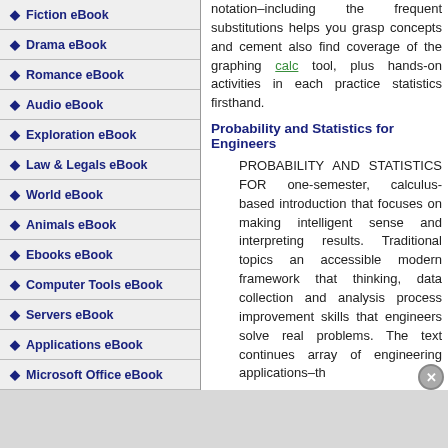Fiction eBook
Drama eBook
Romance eBook
Audio eBook
Exploration eBook
Law & Legals eBook
World eBook
Animals eBook
Ebooks eBook
Computer Tools eBook
Servers eBook
Applications eBook
Microsoft Office eBook
notation–including the frequent substitutions helps you grasp concepts and cement also find coverage of the graphing calc tool, plus hands-on activities in each practice statistics firsthand.
Probability and Statistics for Engineers
PROBABILITY AND STATISTICS FOR one-semester, calculus-based introduction that focuses on making intelligent sense and interpreting results. Traditional topics an accessible modern framework that thinking, data collection and analysis process improvement skills that engineers solve real problems. The text continues array of engineering applications–th